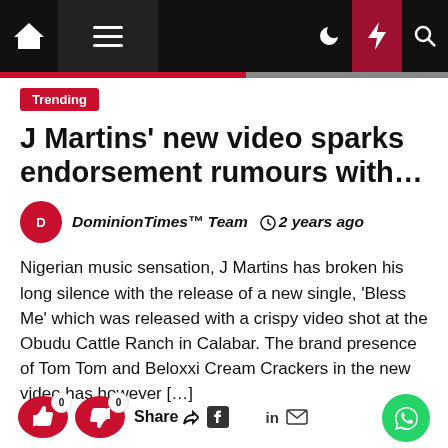Navigation bar with home, menu, dark mode, flash, and search icons
Trending
J Martins' new video sparks endorsement rumours with…
DominionTimes™ Team  🕐 2 years ago
Nigerian music sensation, J Martins has broken his long silence with the release of a new single, 'Bless Me' which was released with a crispy video shot at the Obudu Cattle Ranch in Calabar. The brand presence of Tom Tom and Beloxxi Cream Crackers in the new video has however […]